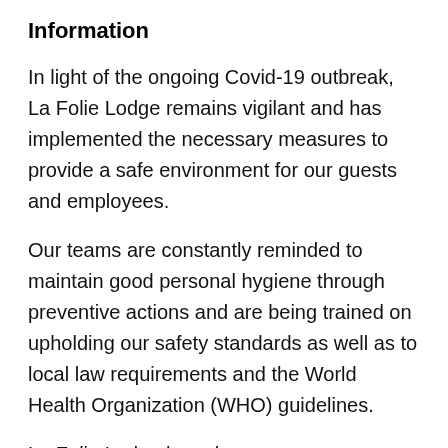Information
In light of the ongoing Covid-19 outbreak, La Folie Lodge remains vigilant and has implemented the necessary measures to provide a safe environment for our guests and employees.
Our teams are constantly reminded to maintain good personal hygiene through preventive actions and are being trained on upholding our safety standards as well as to local law requirements and the World Health Organization (WHO) guidelines.
La Folie Lodge has also...